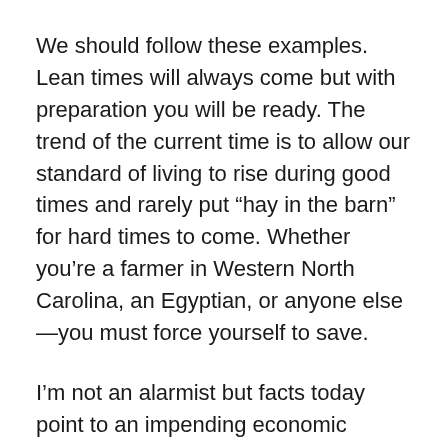We should follow these examples. Lean times will always come but with preparation you will be ready. The trend of the current time is to allow our standard of living to rise during good times and rarely put “hay in the barn” for hard times to come. Whether you’re a farmer in Western North Carolina, an Egyptian, or anyone else—you must force yourself to save.
I’m not an alarmist but facts today point to an impending economic storm. In the face of any disaster you will need three things: a faith life to support you in the midst of the storm, money in the bank (hay in your barn) to keep your family alive in the immediate aftermath, and an education to help you rebuild.
I’m encouraging you to be prepared. I hope you’re storing hay in the barn—the storm is on the horizon. Are you...